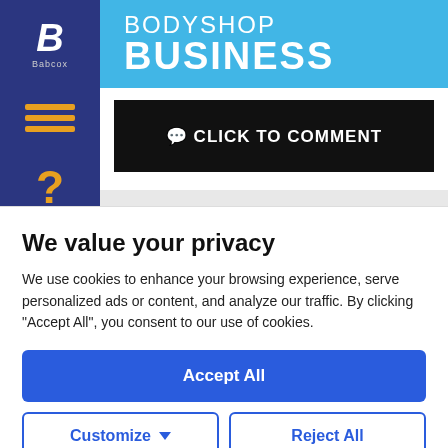BodyShop Business
CLICK TO COMMENT
NEWS: Videos of the Week
We value your privacy
We use cookies to enhance your browsing experience, serve personalized ads or content, and analyze our traffic. By clicking "Accept All", you consent to our use of cookies.
Accept All
Customize
Reject All